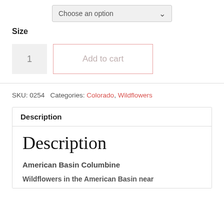Choose an option
Size
1
Add to cart
SKU: 0254 Categories: Colorado, Wildflowers
Description
Description
American Basin Columbine
Wildflowers in the American Basin near